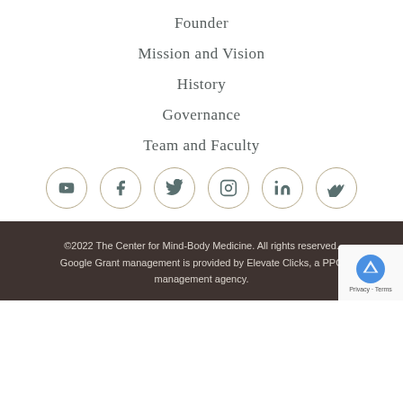Founder
Mission and Vision
History
Governance
Team and Faculty
[Figure (infographic): Six social media icons in circles: YouTube, Facebook, Twitter, Instagram, LinkedIn, Vimeo]
©2022 The Center for Mind-Body Medicine. All rights reserved. Google Grant management is provided by Elevate Clicks, a PPC management agency.